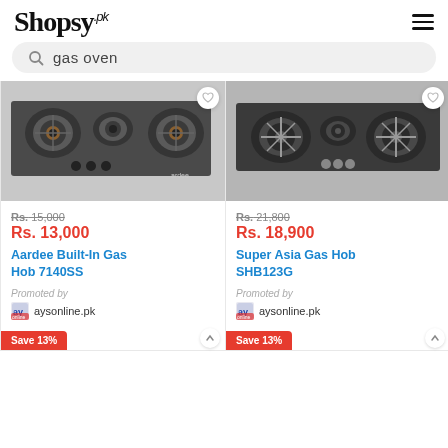Shopsy.pk
gas oven
[Figure (photo): Aardee built-in gas hob with 3 burners on dark glass surface]
Rs. 15,000
Rs. 13,000
Aardee Built-In Gas Hob 7140SS
Promoted by
aysonline.pk
[Figure (photo): Super Asia gas hob with 3 burners on dark glass surface]
Rs. 21,800
Rs. 18,900
Super Asia Gas Hob SHB123G
Promoted by
aysonline.pk
Save 13%
Save 13%